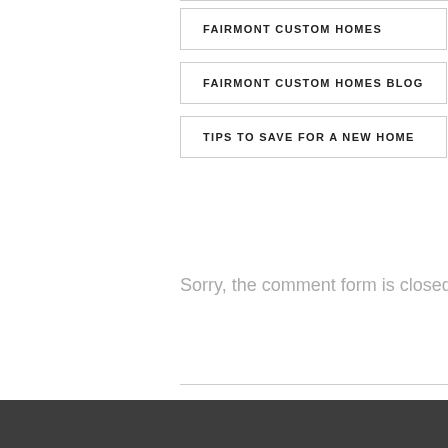FAIRMONT CUSTOM HOMES
FAIRMONT CUSTOM HOMES BLOG
TIPS TO SAVE FOR A NEW HOME
Sorry, the comment form is closed at this time.